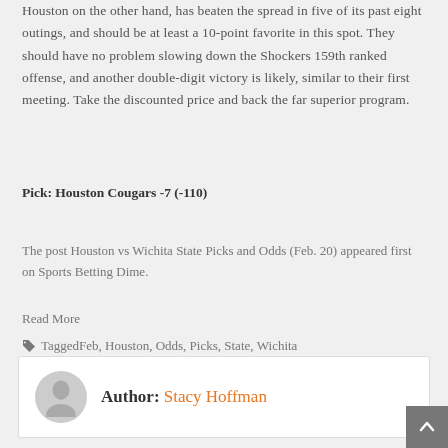Houston on the other hand, has beaten the spread in five of its past eight outings, and should be at least a 10-point favorite in this spot. They should have no problem slowing down the Shockers 159th ranked offense, and another double-digit victory is likely, similar to their first meeting. Take the discounted price and back the far superior program.
Pick: Houston Cougars -7 (-110)
The post Houston vs Wichita State Picks and Odds (Feb. 20) appeared first on Sports Betting Dime.
Read More
Tagged Feb, Houston, Odds, Picks, State, Wichita
Author: Stacy Hoffman